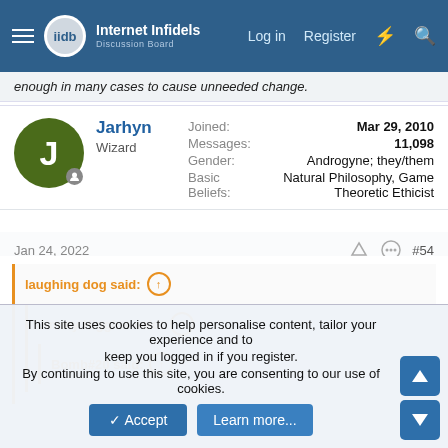Internet Infidels Discussion Board — Log in  Register
enough in many cases to cause unneeded change.
Jarhyn
Wizard
Joined: Mar 29, 2010
Messages: 11,098
Gender: Androgyne; they/them
Basic Beliefs: Natural Philosophy, Game Theoretic Ethicist
Jan 24, 2022  #54
laughing dog said: ↑
  Jimmy Higgins said: ↑
    Bomb#20 said: ↑
This site uses cookies to help personalise content, tailor your experience and to keep you logged in if you register.
By continuing to use this site, you are consenting to our use of cookies.